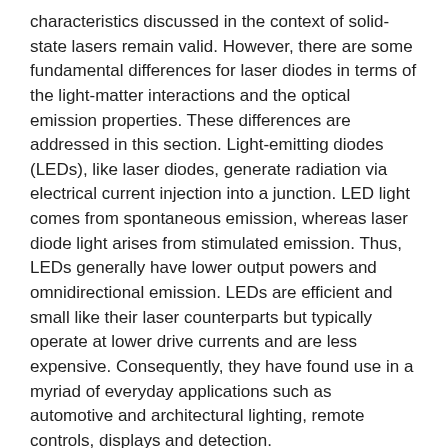characteristics discussed in the context of solid-state lasers remain valid. However, there are some fundamental differences for laser diodes in terms of the light-matter interactions and the optical emission properties. These differences are addressed in this section. Light-emitting diodes (LEDs), like laser diodes, generate radiation via electrical current injection into a junction. LED light comes from spontaneous emission, whereas laser diode light arises from stimulated emission. Thus, LEDs generally have lower output powers and omnidirectional emission. LEDs are efficient and small like their laser counterparts but typically operate at lower drive currents and are less expensive. Consequently, they have found use in a myriad of everyday applications such as automotive and architectural lighting, remote controls, displays and detection.
Basic Semiconductor Physics
The radiating species which make up most laser gain are either molecules in a dilute gas or liquid, or ions doped in a crystalline or glass host (See Types of Lasers). In a semiconductor, the constituent atoms form a crystalline or